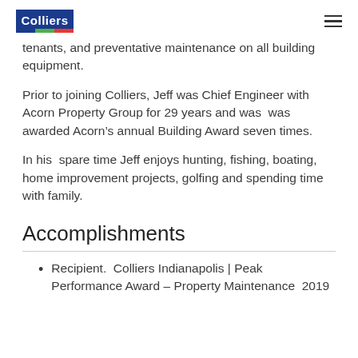Colliers
tenants, and preventative maintenance on all building equipment.
Prior to joining Colliers, Jeff was Chief Engineer with Acorn Property Group for 29 years and was  was awarded Acorn’s annual Building Award seven times.
In his  spare time Jeff enjoys hunting, fishing, boating, home improvement projects, golfing and spending time with family.
Accomplishments
Recipient.  Colliers Indianapolis | Peak Performance Award – Property Maintenance  2019